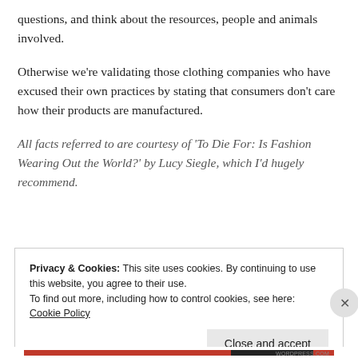questions, and think about the resources, people and animals involved.
Otherwise we're validating those clothing companies who have excused their own practices by stating that consumers don't care how their products are manufactured.
All facts referred to are courtesy of 'To Die For: Is Fashion Wearing Out the World?' by Lucy Siegle, which I'd hugely recommend.
Privacy & Cookies: This site uses cookies. By continuing to use this website, you agree to their use.
To find out more, including how to control cookies, see here: Cookie Policy